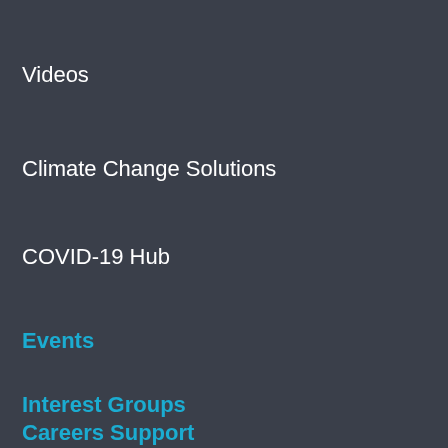Videos
Climate Change Solutions
COVID-19 Hub
Events
Interest Groups
Careers Support